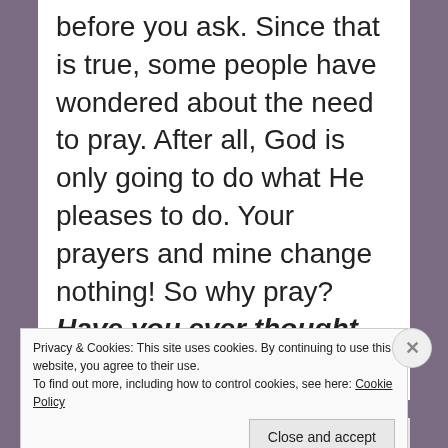before you ask. Since that is true, some people have wondered about the need to pray. After all, God is only going to do what He pleases to do. Your prayers and mine change nothing! So why pray? Have you ever thought that the whole end of prayer might be prayer itself? Have you ever
Privacy & Cookies: This site uses cookies. By continuing to use this website, you agree to their use.
To find out more, including how to control cookies, see here: Cookie Policy
Close and accept